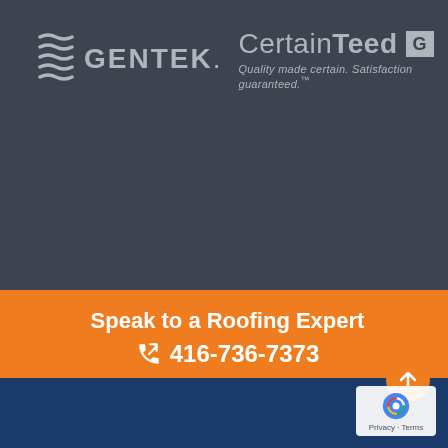[Figure (logo): Gentek and CertainTeed logos side by side on dark grey background. Gentek has stacked wave icon and bold text. CertainTeed has bold text with a box icon and italic tagline: Quality made certain. Satisfaction guaranteed.]
Speak to a Roofing Expert
📞 416-736-7373
[Figure (other): Blue footer bar at the bottom, orange scroll-to-top button, and Google reCAPTCHA badge with Privacy and Terms links.]